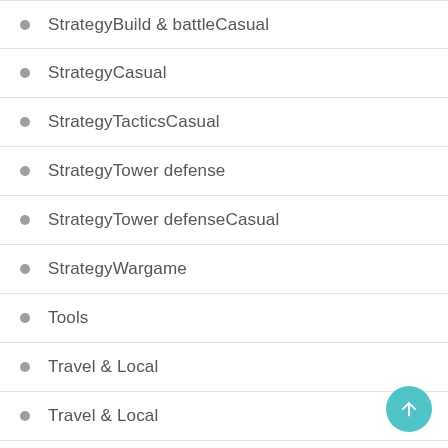StrategyBuild & battleCasual
StrategyCasual
StrategyTacticsCasual
StrategyTower defense
StrategyTower defenseCasual
StrategyWargame
Tools
Travel & Local
Travel & Local